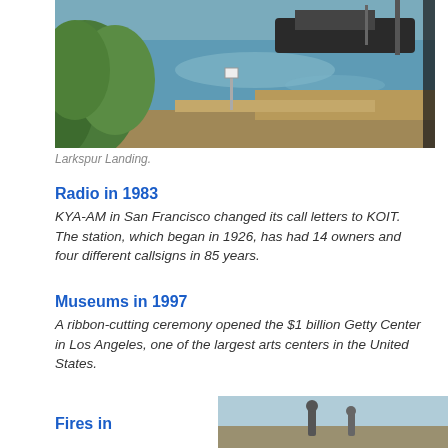[Figure (photo): Waterfront scene at Larkspur Landing showing water, boats, green foliage on the left, and dry land/reeds on the right under blue sky]
Larkspur Landing.
Radio in 1983
KYA-AM in San Francisco changed its call letters to KOIT. The station, which began in 1926, has had 14 owners and four different callsigns in 85 years.
Museums in 1997
A ribbon-cutting ceremony opened the $1 billion Getty Center in Los Angeles, one of the largest arts centers in the United States.
Fires in
[Figure (photo): Partial photo at bottom right, appears to show a scene with figures, cut off]